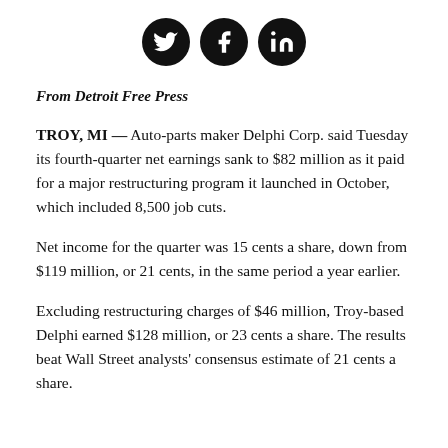[Figure (other): Three social media icons (Twitter, Facebook, LinkedIn) in black circles]
From Detroit Free Press
TROY, MI — Auto-parts maker Delphi Corp. said Tuesday its fourth-quarter net earnings sank to $82 million as it paid for a major restructuring program it launched in October, which included 8,500 job cuts.
Net income for the quarter was 15 cents a share, down from $119 million, or 21 cents, in the same period a year earlier.
Excluding restructuring charges of $46 million, Troy-based Delphi earned $128 million, or 23 cents a share. The results beat Wall Street analysts' consensus estimate of 21 cents a share.